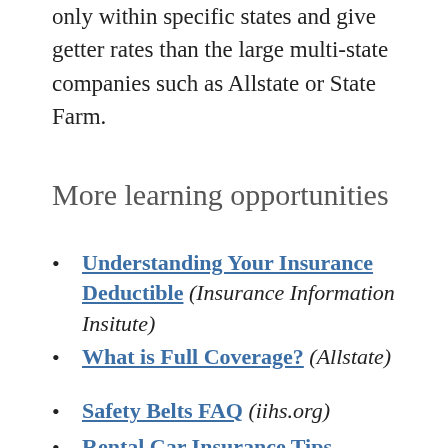only within specific states and give getter rates than the large multi-state companies such as Allstate or State Farm.
More learning opportunities
Understanding Your Insurance Deductible (Insurance Information Insitute)
What is Full Coverage? (Allstate)
Safety Belts FAQ (iihs.org)
Rental Car Insurance Tips